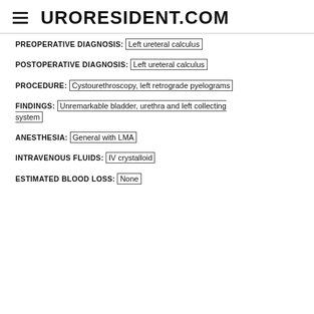URORESIDENT.COM
PREOPERATIVE DIAGNOSIS: Left ureteral calculus
POSTOPERATIVE DIAGNOSIS: Left ureteral calculus
PROCEDURE: Cystourethroscopy, left retrograde pyelograms
FINDINGS: Unremarkable bladder, urethra and left collecting system
ANESTHESIA: General with LMA
INTRAVENOUS FLUIDS: IV crystalloid
ESTIMATED BLOOD LOSS: None